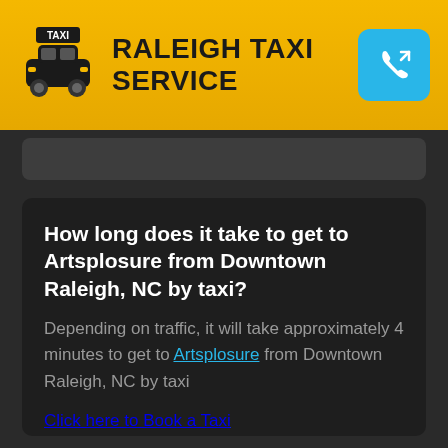RALEIGH TAXI SERVICE
How long does it take to get to Artsplosure from Downtown Raleigh, NC by taxi?
Depending on traffic, it will take approximately 4 minutes to get to Artsplosure from Downtown Raleigh, NC by taxi
Click here to Book a Taxi